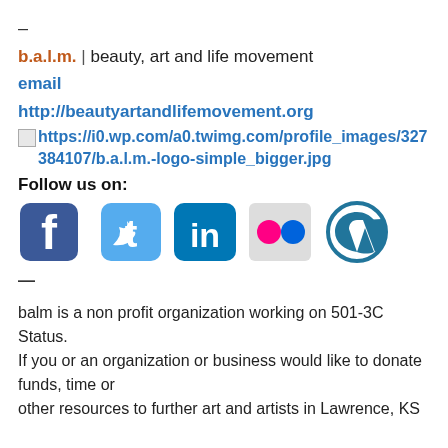–
b.a.l.m. | beauty, art and life movement
email
http://beautyartandlifemovement.org
https://i0.wp.com/a0.twimg.com/profile_images/327384107/b.a.l.m.-logo-simple_bigger.jpg
Follow us on:
[Figure (illustration): Social media icons: Facebook, Twitter, LinkedIn, Flickr, WordPress]
—
balm is a non profit organization working on 501-3C Status.
If you or an organization or business would like to donate funds, time or
other resources to further art and artists in Lawrence, KS